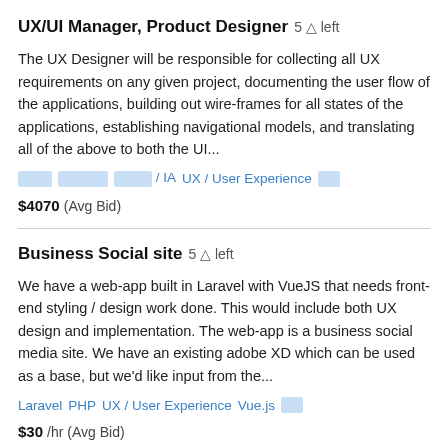UX/UI Manager, Product Designer  5 🕐 left
The UX Designer will be responsible for collecting all UX requirements on any given project, documenting the user flow of the applications, building out wire-frames for all states of the applications, establishing navigational models, and translating all of the above to both the UI...
tags: [redacted] [redacted] [redacted] / IA  UX / User Experience  [redacted]
$4070  (Avg Bid)
Business Social site  5 🕐 left
We have a web-app built in Laravel with VueJS that needs front-end styling / design work done. This would include both UX design and implementation. The web-app is a business social media site. We have an existing adobe XD which can be used as a base, but we'd like input from the...
tags: Laravel  PHP  UX / User Experience  Vue.js  [redacted]
$30/hr (Avg Bid)